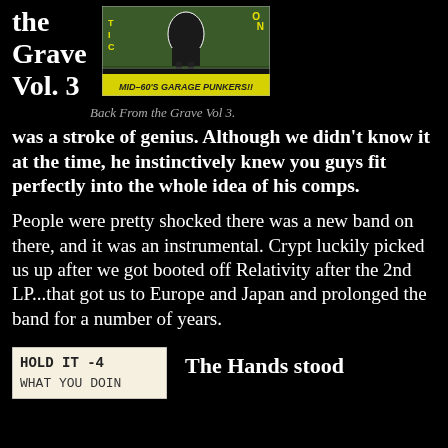the Grave Vol. 3
[Figure (photo): Album cover for Back From the Grave Vol 3 showing mid-60s garage punk imagery with text 'MID-60'S GARAGE PUNKERS!!']
Back From the Grave Vol 3.
was a stroke of genius. Although we didn't know it at the time, he instinctively knew you guys fit perfectly into the whole idea of his comps.
People were pretty shocked there was a new band on there, and it was an instrumental. Crypt luckily picked us up after we got booted off Relativity after the 2nd LP...that got us to Europe and Japan and prolonged the band for a number of years.
[Figure (photo): Handwritten note reading 'HOLD IT -4 WHAT YOU DOIN']
The Hands stood